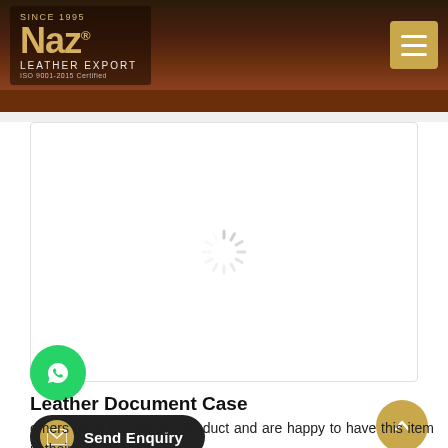[Figure (logo): Naz Leather Export logo — gold 'Naz' text, 'SINCE 1995', 'LEATHER EXPORT', 'ISO 9001-2015 Certified' on dark background]
[Figure (screenshot): Loading spinner (circular dashed spinner icon) in white product image area]
Leather Document Case
[Figure (infographic): WhatsApp chat button (green circle with WhatsApp icon)]
[Figure (infographic): Send Enquiry button — dark pill with gold envelope icon and white text 'Send Enquiry']
omers have bought this product and are happy to have this item in their